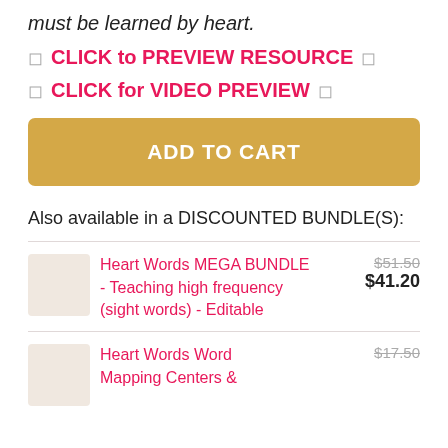must be learned by heart.
🔲 CLICK to PREVIEW RESOURCE 🔲
🔲 CLICK for VIDEO PREVIEW 🔲
ADD TO CART
Also available in a DISCOUNTED BUNDLE(S):
Heart Words MEGA BUNDLE - Teaching high frequency (sight words) - Editable
$51.50 $41.20
Heart Words Word Mapping Centers &
$17.50